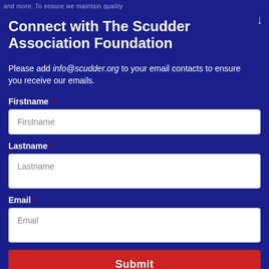and more. To ensure we maintain quality
Connect with The Scudder Association Foundation
Please add info@scudder.org to your email contacts to ensure you receive our emails.
Firstname *
Firstname
Lastname *
Lastname
Email *
Email
Submit